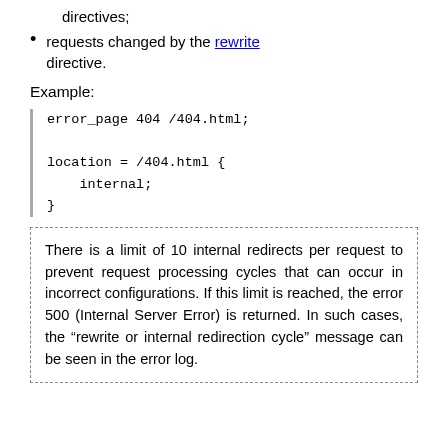directives;
requests changed by the rewrite directive.
Example:
error_page 404 /404.html;

location = /404.html {
    internal;
}
There is a limit of 10 internal redirects per request to prevent request processing cycles that can occur in incorrect configurations. If this limit is reached, the error 500 (Internal Server Error) is returned. In such cases, the “rewrite or internal redirection cycle” message can be seen in the error log.